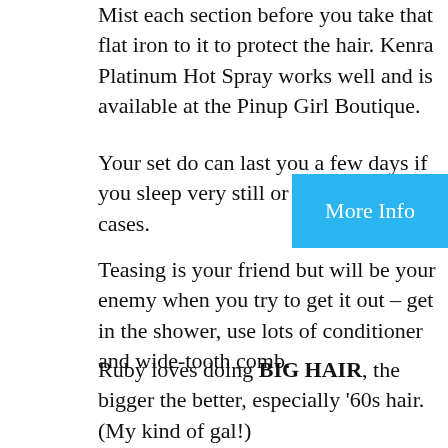Mist each section before you take that flat iron to it to protect the hair. Kenra Platinum Hot Spray works well and is available at the Pinup Girl Boutique.
Your set do can last you a few days if you sleep very still or use satin pillow cases.
More Info
Teasing is your friend but will be your enemy when you try to get it out – get in the shower, use lots of conditioner and wide-tooth comb.
Ruby loves doing BIG HAIR, the bigger the better, especially '60s hair. (My kind of gal!)
Ruby loves talking “Toddlers & Tieras” and “Honey Boo Boo” – don’t get her started!
Now that class is over, I’m hoping I have at least a pinky-full of Ruby’s talent to try to create these